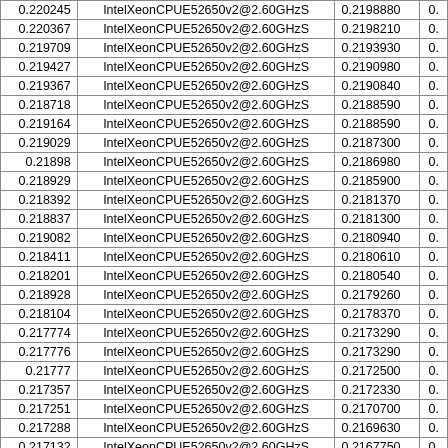| col1 | col2 | col3 | col4 |
| --- | --- | --- | --- |
| 0.220245 | IntelXeonCPUE52650v2@2.60GHzS | 0.2198880 | 0. |
| 0.220367 | IntelXeonCPUE52650v2@2.60GHzS | 0.2198210 | 0. |
| 0.219709 | IntelXeonCPUE52650v2@2.60GHzS | 0.2193930 | 0. |
| 0.219427 | IntelXeonCPUE52650v2@2.60GHzS | 0.2190980 | 0. |
| 0.219367 | IntelXeonCPUE52650v2@2.60GHzS | 0.2190840 | 0. |
| 0.218718 | IntelXeonCPUE52650v2@2.60GHzS | 0.2188590 | 0. |
| 0.219164 | IntelXeonCPUE52650v2@2.60GHzS | 0.2188590 | 0. |
| 0.219029 | IntelXeonCPUE52650v2@2.60GHzS | 0.2187300 | 0. |
| 0.21898 | IntelXeonCPUE52650v2@2.60GHzS | 0.2186980 | 0. |
| 0.218929 | IntelXeonCPUE52650v2@2.60GHzS | 0.2185900 | 0. |
| 0.218392 | IntelXeonCPUE52650v2@2.60GHzS | 0.2181370 | 0. |
| 0.218837 | IntelXeonCPUE52650v2@2.60GHzS | 0.2181300 | 0. |
| 0.219082 | IntelXeonCPUE52650v2@2.60GHzS | 0.2180940 | 0. |
| 0.218411 | IntelXeonCPUE52650v2@2.60GHzS | 0.2180610 | 0. |
| 0.218201 | IntelXeonCPUE52650v2@2.60GHzS | 0.2180540 | 0. |
| 0.218928 | IntelXeonCPUE52650v2@2.60GHzS | 0.2179260 | 0. |
| 0.218104 | IntelXeonCPUE52650v2@2.60GHzS | 0.2178370 | 0. |
| 0.217774 | IntelXeonCPUE52650v2@2.60GHzS | 0.2173290 | 0. |
| 0.217776 | IntelXeonCPUE52650v2@2.60GHzS | 0.2173290 | 0. |
| 0.21777 | IntelXeonCPUE52650v2@2.60GHzS | 0.2172500 | 0. |
| 0.217357 | IntelXeonCPUE52650v2@2.60GHzS | 0.2172330 | 0. |
| 0.217251 | IntelXeonCPUE52650v2@2.60GHzS | 0.2170700 | 0. |
| 0.217288 | IntelXeonCPUE52650v2@2.60GHzS | 0.2169630 | 0. |
| 0.217132 | IntelXeonCPUE52650v2@2.60GHzS | 0.2167750 | 0. |
| 0.216777 | IntelXeonCPUE52650v2@2.60GHzS | 0.2167360 | 0. |